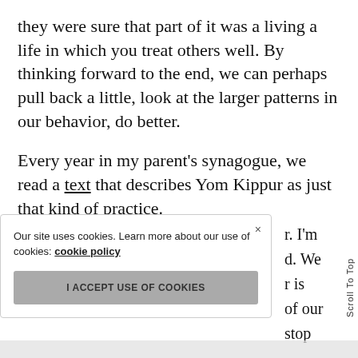they were sure that part of it was a living a life in which you treat others well. By thinking forward to the end, we can perhaps pull back a little, look at the larger patterns in our behavior, do better.
Every year in my parent’s synagogue, we read a text that describes Yom Kippur as just that kind of practice.
Our site uses cookies. Learn more about our use of cookies: cookie policy
I ACCEPT USE OF COOKIES
r. I’m
d. We
r is
of our
stop
Scroll To Top